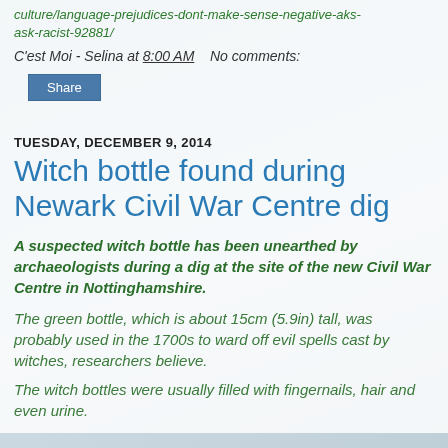culture/language-prejudices-dont-make-sense-negative-aks-ask-racist-92881/
C'est Moi - Selina at 8:00 AM   No comments:
Share
TUESDAY, DECEMBER 9, 2014
Witch bottle found during Newark Civil War Centre dig
A suspected witch bottle has been unearthed by archaeologists during a dig at the site of the new Civil War Centre in Nottinghamshire.
The green bottle, which is about 15cm (5.9in) tall, was probably used in the 1700s to ward off evil spells cast by witches, researchers believe.
The witch bottles were usually filled with fingernails, hair and even urine.